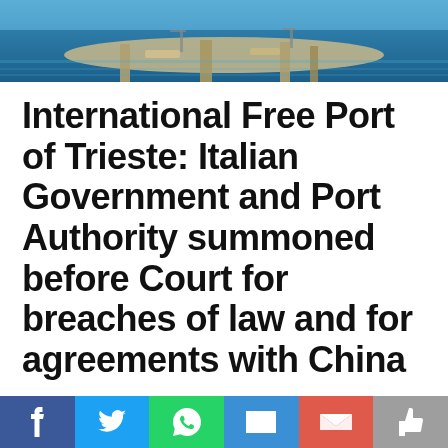[Figure (photo): Aerial photograph of the Port of Trieste showing harbour infrastructure, piers, and water]
International Free Port of Trieste: Italian Government and Port Authority summoned before Court for breaches of law and for agreements with China
The I. P. R. F. T. T. summoned before Court the Italian government under accusation of violating the legal status and